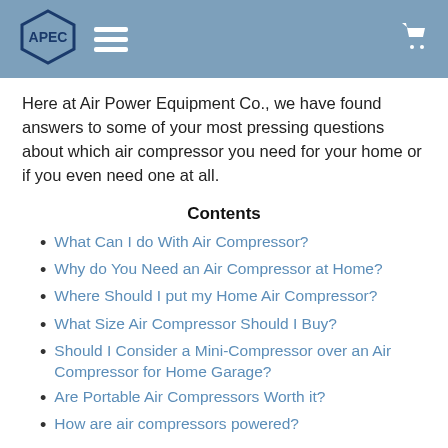APEC logo and navigation header
Here at Air Power Equipment Co., we have found answers to some of your most pressing questions about which air compressor you need for your home or if you even need one at all.
Contents
What Can I do With Air Compressor?
Why do You Need an Air Compressor at Home?
Where Should I put my Home Air Compressor?
What Size Air Compressor Should I Buy?
Should I Consider a Mini-Compressor over an Air Compressor for Home Garage?
Are Portable Air Compressors Worth it?
How are air compressors powered?